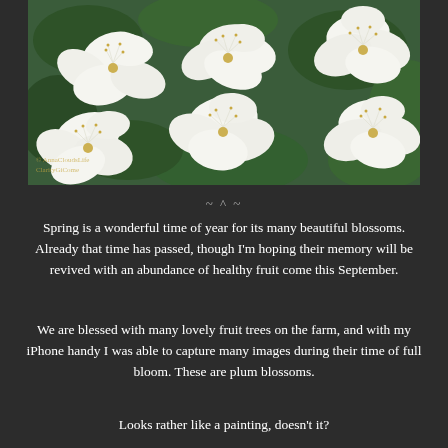[Figure (photo): Close-up photograph of white plum blossoms with green leaves in the background, showing delicate white petals and thin stamens. A small watermark is visible in the lower left corner.]
~ ^ ~
Spring is a wonderful time of year for its many beautiful blossoms. Already that time has passed, though I'm hoping their memory will be revived with an abundance of healthy fruit come this September.
We are blessed with many lovely fruit trees on the farm, and with my iPhone handy I was able to capture many images during their time of full bloom. These are plum blossoms.
Looks rather like a painting, doesn't it?